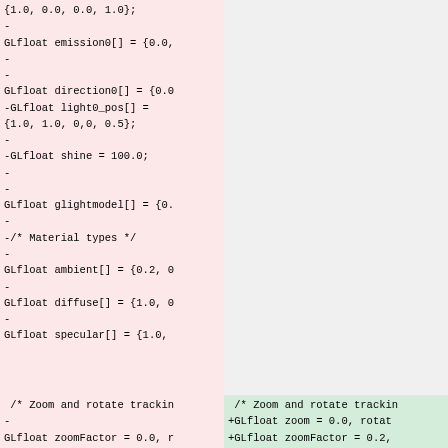Diff view of C/OpenGL source code showing removed lines (red/pink background, left column) and added lines (green background, bottom right). Left column shows removed code including GLfloat declarations for emission0, direction0, light0_pos, shine, glightmodel, ambient, diffuse, specular. Bottom shows zoom/rotate tracking variable declarations.